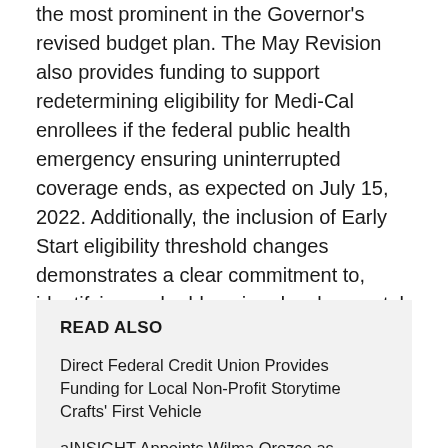the most prominent in the Governor's revised budget plan. The May Revision also provides funding to support redetermining eligibility for Medi-Cal enrollees if the federal public health emergency ensuring uninterrupted coverage ends, as expected on July 15, 2022. Additionally, the inclusion of Early Start eligibility threshold changes demonstrates a clear commitment to, identifying and addressing developmental delays in our youngest children at the earliest moments possible.
READ ALSO
Direct Federal Credit Union Provides Funding for Local Non-Profit Storytime Crafts' First Vehicle
aINSIGHT Appoints Wilma Orozco as NoMoreForms Product Manager